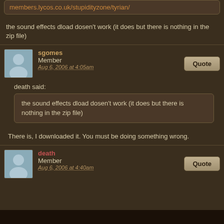members.lycos.co.uk/stupidityzone/tyrian/
the sound effects dload dosen't work (it does but there is nothing in the zip file)
sgomes
Member
Aug 6, 2006 at 4:05am
death said:
the sound effects dload dosen't work (it does but there is nothing in the zip file)
There is, I downloaded it. You must be doing something wrong.
death
Member
Aug 6, 2006 at 4:40am